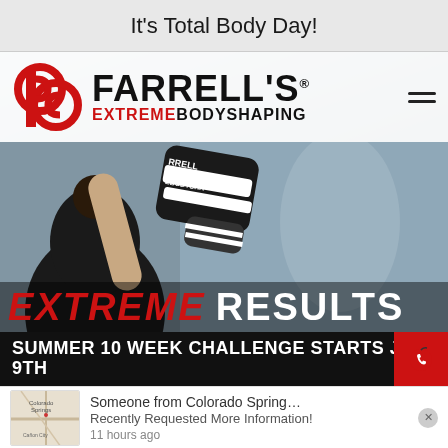It's Total Body Day!
[Figure (screenshot): Farrell's Extreme Bodyshaping website screenshot showing logo, a photo of a person raising a boxing glove with the brand name, text 'EXTREME RESULTS', a banner reading 'SUMMER 10 WEEK CHALLENGE STARTS JULY 9TH', and a notification popup saying 'Someone from Colorado Spring... Recently Requested More Information! 11 hours ago']